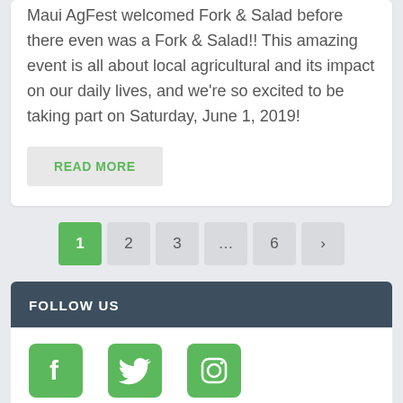Maui AgFest welcomed Fork & Salad before there even was a Fork & Salad!! This amazing event is all about local agricultural and its impact on our daily lives, and we're so excited to be taking part on Saturday, June 1, 2019!
READ MORE
1 2 3 … 6 >
FOLLOW US
[Figure (illustration): Social media icons: Facebook (f), Twitter (bird), Instagram (camera) — all green on white background]